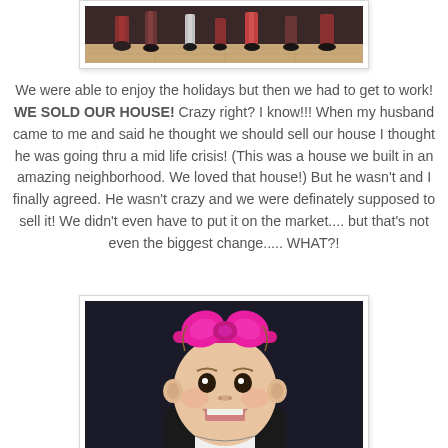[Figure (photo): Partial photo of children/people in holiday outfits, showing legs and feet on a wooden floor]
We were able to enjoy the holidays but then we had to get to work! WE SOLD OUR HOUSE! Crazy right? I know!!! When my husband came to me and said he thought we should sell our house I thought he was going thru a mid life crisis! (This was a house we built in an amazing neighborhood. We loved that house!) But he wasn't and I finally agreed. He wasn't crazy and we were definately supposed to sell it! We didn't even have to put it on the market.... but that's not even the biggest change..... WHAT?!
[Figure (photo): Photo of a baby/infant with a large pink bow headband, smiling with mouth open, wearing a black and white outfit]